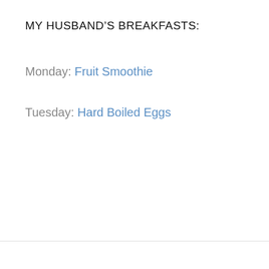MY HUSBAND'S BREAKFASTS:
Monday: Fruit Smoothie
Tuesday: Hard Boiled Eggs